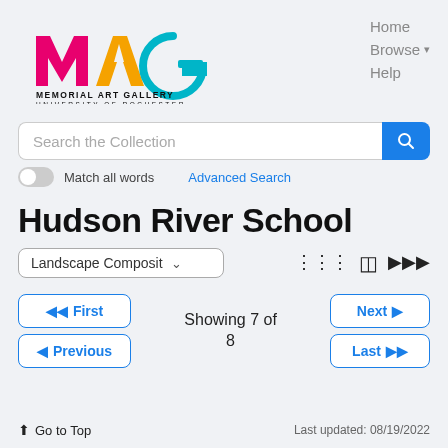[Figure (logo): MAG Memorial Art Gallery University of Rochester logo with colorful M, A, G letters]
Home
Browse ▾
Help
Search the Collection
Match all words
Advanced Search
Hudson River School
Landscape Composit
◀◀ First
◀ Previous
Showing 7 of 8
Next ▶
Last ▶▶
↑ Go to Top    Last updated: 08/19/2022